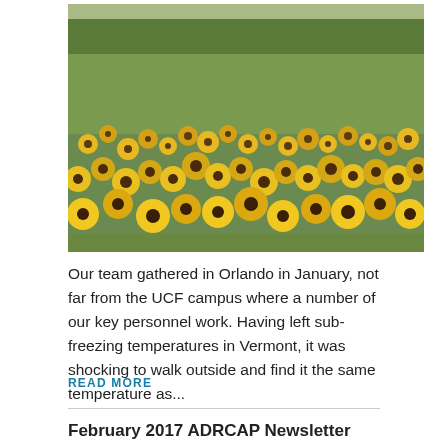[Figure (photo): Field of yellow sunflowers / black-eyed susans with green grass and trees in the background, photographed outdoors on a sunny day near UCF campus in Orlando, Florida.]
Our team gathered in Orlando in January, not far from the UCF campus where a number of our key personnel work. Having left sub-freezing temperatures in Vermont, it was shocking to walk outside and find it the same temperature as...
READ MORE
February 2017 ADRCAP Newsletter